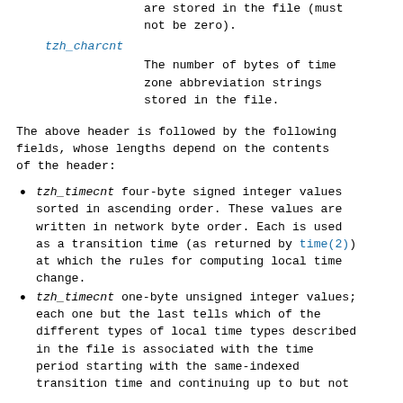are stored in the file (must not be zero).
tzh_charcnt
The number of bytes of time zone abbreviation strings stored in the file.
The above header is followed by the following fields, whose lengths depend on the contents of the header:
tzh_timecnt four-byte signed integer values sorted in ascending order. These values are written in network byte order. Each is used as a transition time (as returned by time(2)) at which the rules for computing local time change.
tzh_timecnt one-byte unsigned integer values; each one but the last tells which of the different types of local time types described in the file is associated with the time period starting with the same-indexed transition time and continuing up to but not